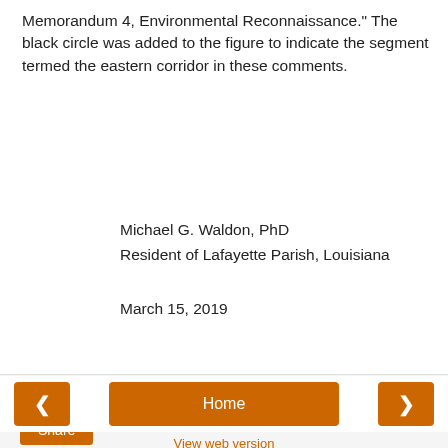Memorandum 4, Environmental Reconnaissance." The black circle was added to the figure to indicate the segment termed the eastern corridor in these comments.
Michael G. Waldon, PhD
Resident of Lafayette Parish, Louisiana
March 15, 2019
Mike at 2:14:00 PM   No comments:
Share
< Home > View web version